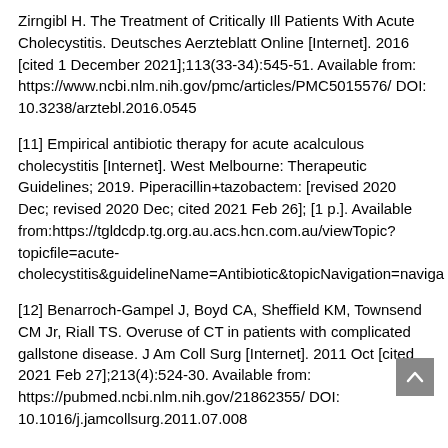Zirngibl H. The Treatment of Critically Ill Patients With Acute Cholecystitis. Deutsches Aerzteblatt Online [Internet]. 2016 [cited 1 December 2021];113(33-34):545-51. Available from: https://www.ncbi.nlm.nih.gov/pmc/articles/PMC5015576/ DOI: 10.3238/arztebl.2016.0545
[11] Empirical antibiotic therapy for acute acalculous cholecystitis [Internet]. West Melbourne: Therapeutic Guidelines; 2019. Piperacillin+tazobactem: [revised 2020 Dec; revised 2020 Dec; cited 2021 Feb 26]; [1 p.]. Available from:https://tgldcdp.tg.org.au.acs.hcn.com.au/viewTopic?topicfile=acute-cholecystitis&guidelineName=Antibiotic&topicNavigation=naviga
[12] Benarroch-Gampel J, Boyd CA, Sheffield KM, Townsend CM Jr, Riall TS. Overuse of CT in patients with complicated gallstone disease. J Am Coll Surg [Internet]. 2011 Oct [cited 2021 Feb 27];213(4):524-30. Available from: https://pubmed.ncbi.nlm.nih.gov/21862355/ DOI: 10.1016/j.jamcollsurg.2011.07.008
[13] Barie PS. Surgical Treatment: Evidence-Based and